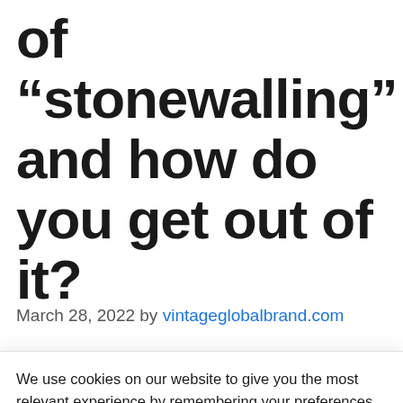of “stonewalling” and how do you get out of it?
March 28, 2022 by vintageglobalbrand.com
In a relationship, quarrels occur more often
We use cookies on our website to give you the most relevant experience by remembering your preferences and repeat visits. By clicking “Accept All”, you consent to the use of ALL the cookies. However, you may visit "Cookie Settings" to provide a controlled consent.